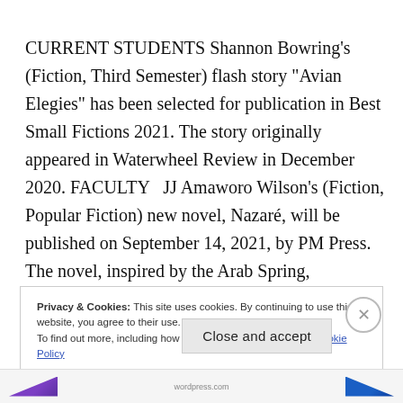CURRENT STUDENTS Shannon Bowring's (Fiction, Third Semester) flash story "Avian Elegies" has been selected for publication in Best Small Fictions 2021. The story originally appeared in Waterwheel Review in December 2020. FACULTY  JJ Amaworo Wilson's (Fiction, Popular Fiction) new novel, Nazaré, will be published on September 14, 2021, by PM Press. The novel, inspired by the Arab Spring, ...
Privacy & Cookies: This site uses cookies. By continuing to use this website, you agree to their use.
To find out more, including how to control cookies, see here: Cookie Policy
Close and accept